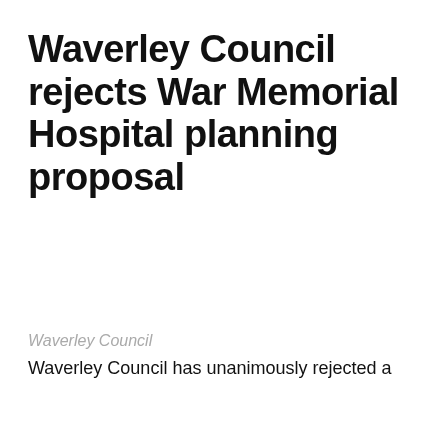Waverley Council rejects War Memorial Hospital planning proposal
Waverley Council
Waverley Council has unanimously rejected a